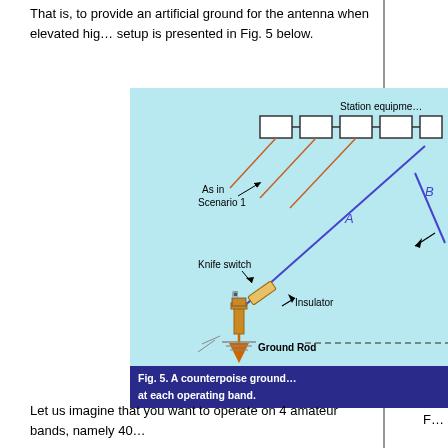That is, to provide an artificial ground for the antenna when elevated hig... setup is presented in Fig. 5 below.
[Figure (schematic): A counterpoise ground schematic diagram showing station equipment boxes connected by wires (orange), a knife switch, an insulator, a ground rod, and two antenna wires labeled A and B. The diagram is on a light blue background with labels: 'Station equipment', 'As in Scenario 1', 'Knife switch', 'Insulator', 'Ground Rod'. Caption below reads: 'Fig. 5. A counterpoise ground... at each operating band.']
Fig. 5. A counterpoise ground... at each operating band.
Let us imagine that you want to operate on 4 amateur bands, namely 40...